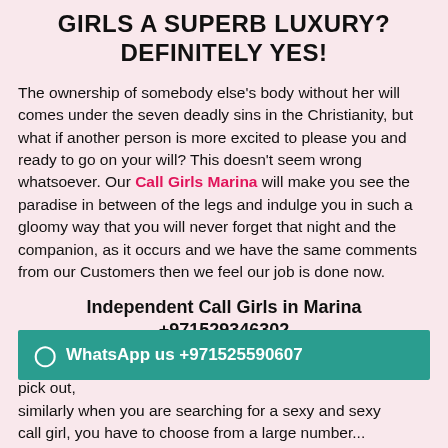GIRLS A SUPERB LUXURY? DEFINITELY YES!
The ownership of somebody else's body without her will comes under the seven deadly sins in the Christianity, but what if another person is more excited to please you and ready to go on your will? This doesn't seem wrong whatsoever. Our Call Girls Marina will make you see the paradise in between of the legs and indulge you in such a gloomy way that you will never forget that night and the companion, as it occurs and we have the same comments from our Customers then we feel our job is done now.
Independent Call Girls in Marina +971529346302
As all realise that Marina offers a big form of selections to pick out, similarly when you are searching for a sexy and sexy call girl, you have to choose from a large number...
WhatsApp us +971525590607